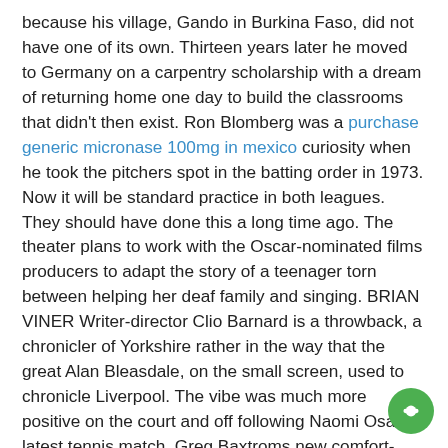because his village, Gando in Burkina Faso, did not have one of its own. Thirteen years later he moved to Germany on a carpentry scholarship with a dream of returning home one day to build the classrooms that didn't then exist. Ron Blomberg was a purchase generic micronase 100mg in mexico curiosity when he took the pitchers spot in the batting order in 1973. Now it will be standard practice in both leagues. They should have done this a long time ago. The theater plans to work with the Oscar-nominated films producers to adapt the story of a teenager torn between helping her deaf family and singing. BRIAN VINER Writer-director Clio Barnard is a throwback, a chronicler of Yorkshire rather in the way that the great Alan Bleasdale, on the small screen, used to chronicle Liverpool. The vibe was much more positive on the court and off following Naomi Osaka's latest tennis match. Greg Baxtroms new comfort-food restaurant, a kaiseki-style spot from Hand Hospitality, and more restaurant news. Conservative peer Lord Young of Cookham has spent 40 years lobbying for his proposal to become law. He first raised it as a health minister in Margaret Thatcher's government in 1979. Speaking with